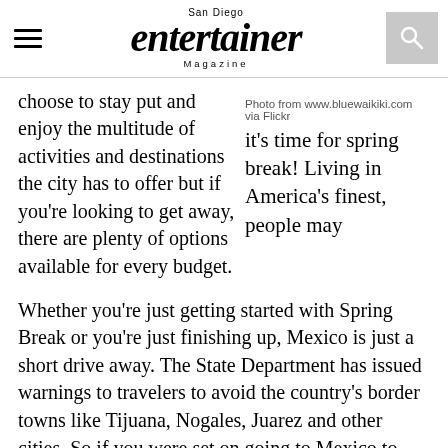San Diego Entertainer Magazine
Photo from www.bluewaikiki.com via Flickr
it's time for spring break! Living in America's finest, people may choose to stay put and enjoy the multitude of activities and destinations the city has to offer but if you're looking to get away, there are plenty of options available for every budget.
Whether you're just getting started with Spring Break or you're just finishing up, Mexico is just a short drive away. The State Department has issued warnings to travelers to avoid the country's border towns like Tijuana, Nogales, Juarez and other cities. So if you were set on going to Mexico to party, you're best bet is hopping on a plane and going to Cancun, Acapulco, Puerto